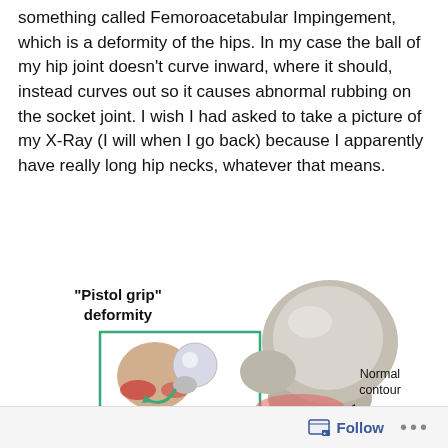something called Femoroacetabular Impingement, which is a deformity of the hips. In my case the ball of my hip joint doesn't curve inward, where it should, instead curves out so it causes abnormal rubbing on the socket joint. I wish I had asked to take a picture of my X-Ray (I will when I go back) because I apparently have really long hip necks, whatever that means.
[Figure (illustration): Medical illustration showing 'Pistol grip' deformity of the hip joint. Main image shows a 3D rendering of the femoral head and neck with abnormal shape, labeled with 'Normal contour' and an arrow. An inset box shows a top view of the hip joint with the ball-and-socket mechanism and a curved arrow indicating rotation.]
Follow ...